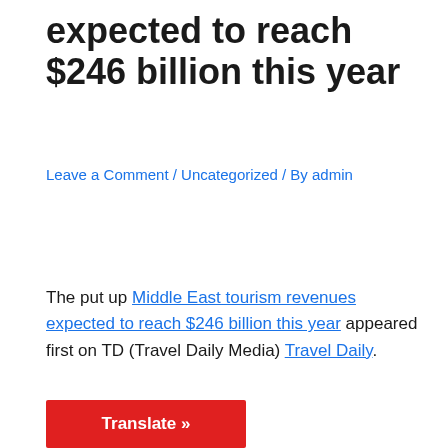expected to reach $246 billion this year
Leave a Comment / Uncategorized / By admin
The put up Middle East tourism revenues expected to reach $246 billion this year appeared first on TD (Travel Daily Media) Travel Daily.
Translate »